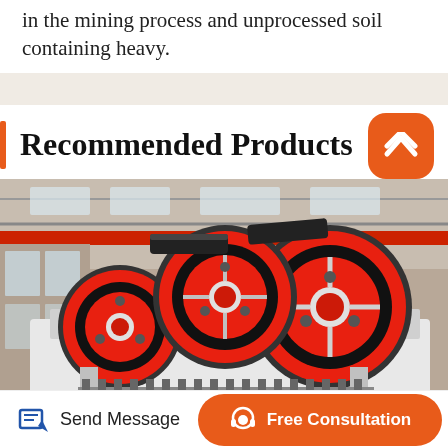in the mining process and unprocessed soil containing heavy.
Recommended Products
[Figure (photo): Industrial jaw crusher machine with large red and black flywheels/pulleys in a factory/warehouse setting with steel roof structure and red overhead crane visible in background.]
Send Message
Free Consultation